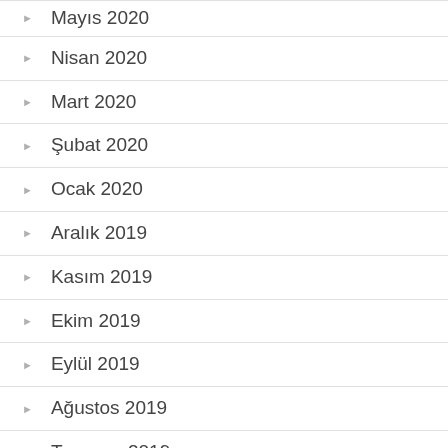Mayıs 2020
Nisan 2020
Mart 2020
Şubat 2020
Ocak 2020
Aralık 2019
Kasım 2019
Ekim 2019
Eylül 2019
Ağustos 2019
Temmuz 2019